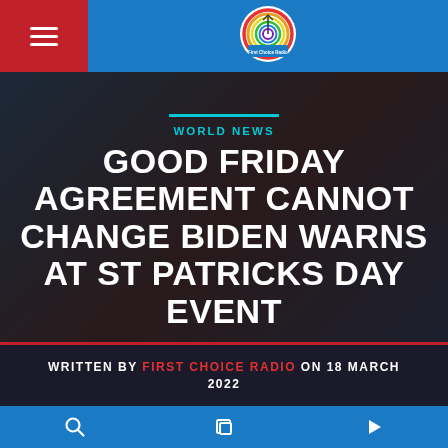First Choice Radio — navigation header with logo
[Figure (logo): First Choice Radio circular logo with rainbow rings and antenna, on blue header bar]
WORLD NEWS
GOOD FRIDAY AGREEMENT CANNOT CHANGE BIDEN WARNS AT ST PATRICKS DAY EVENT
WRITTEN BY FIRST CHOICE RADIO ON 18 MARCH 2022
Bottom navigation bar with search, layers, and play icons